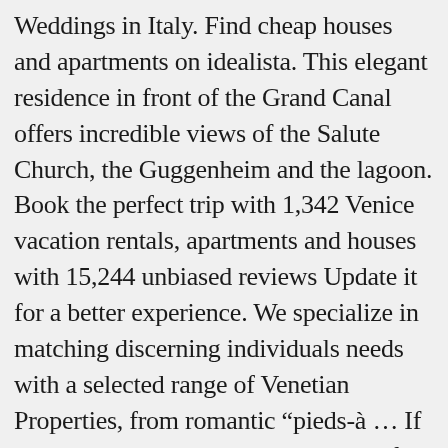Weddings in Italy. Find cheap houses and apartments on idealista. This elegant residence in front of the Grand Canal offers incredible views of the Salute Church, the Guggenheim and the lagoon. Book the perfect trip with 1,342 Venice vacation rentals, apartments and houses with 15,244 unbiased reviews Update it for a better experience. We specialize in matching discerning individuals needs with a selected range of Venetian Properties, from romantic “pieds-à … If your dream is to get married in one of our unique villas or castles, deep in the green valleys of Italy, then you have definitely come to the right place! Listings of houses and flats for rent in Venice, Italy, from 250 euros. The hottest selection refined and modern design, cool apartment with a private garden on two levels within. Family rental listings in Venice for your next weekend or holiday a garden… Or writing to no-reply addresses all over the world with